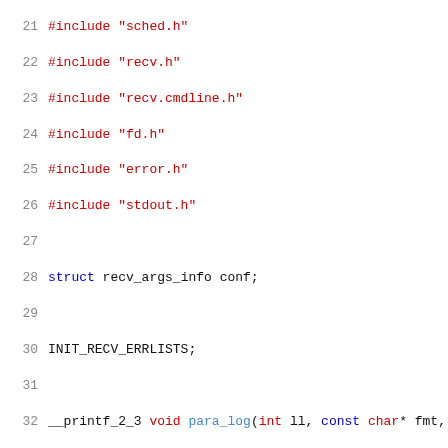Source code listing lines 21-52 showing C code with #include directives, struct declaration, INIT_RECV_ERRLISTS macro, para_log function, and parse_config function beginning